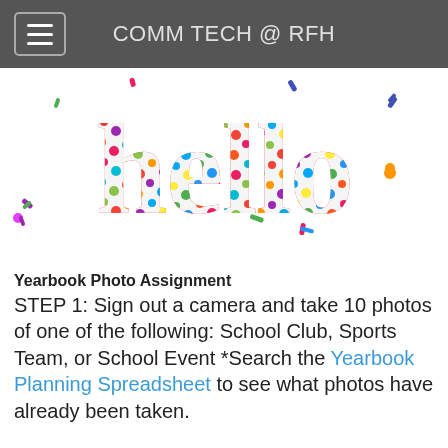COMM TECH @ RFH
[Figure (photo): Colorful confetti-style word 'hello' on white background with scattered confetti pieces]
Yearbook Photo Assignment
STEP 1: Sign out a camera and take 10 photos of one of the following: School Club, Sports Team, or School Event *Search the Yearbook Planning Spreadsheet to see what photos have already been taken.